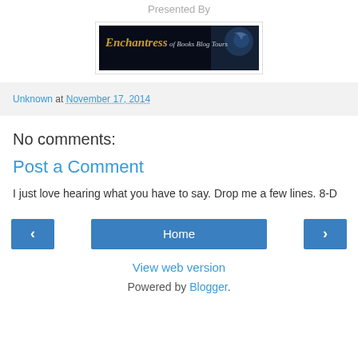Presented By
[Figure (illustration): Enchantress of Books Blog Tours banner with dark background and stylized text]
Unknown at November 17, 2014
No comments:
Post a Comment
I just love hearing what you have to say. Drop me a few lines. 8-D
< Home > View web version Powered by Blogger.